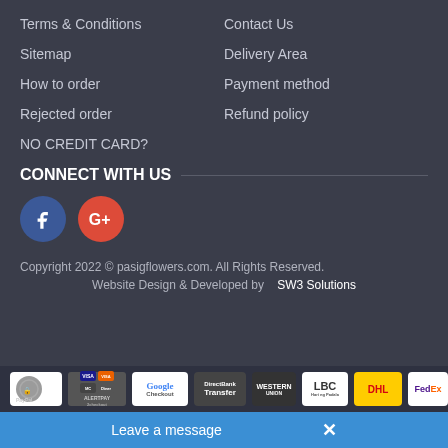Terms & Conditions
Sitemap
How to order
Rejected order
NO CREDIT CARD?
Contact Us
Delivery Area
Payment method
Refund policy
CONNECT WITH US
[Figure (logo): Facebook and Google+ social media icons]
Copyright 2022 © pasigflowers.com. All Rights Reserved.
Website Design & Developed by   SW3 Solutions
[Figure (logo): Payment method logos: PayPal, AlertPay, 2CO, Google Checkout, moneybookers, DirectBank Transfer, Western Union, LBC, DHL Express, FedEx]
Leave a message  ×